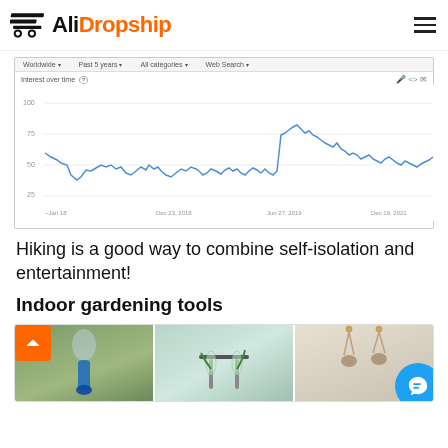AliDropship
[Figure (continuous-plot): Google Trends line chart showing interest over time for a hiking-related search term. The chart shows about 5 years of data (approximately 2018–2022). The line is blue on a white background with light grey gridlines. The y-axis shows values roughly 25, 50, 75, 100. Filters shown: Worldwide, Past 5 years, All categories, Web Search.]
Hiking is a good way to combine self-isolation and entertainment!
Indoor gardening tools
[Figure (photo): Three product photos of indoor gardening tools: a self-watering drip stake device (blue tip), a plant propagation station with test tubes, and macramé plant hangers. An orange scroll-to-top button and a blue chat widget are overlaid.]